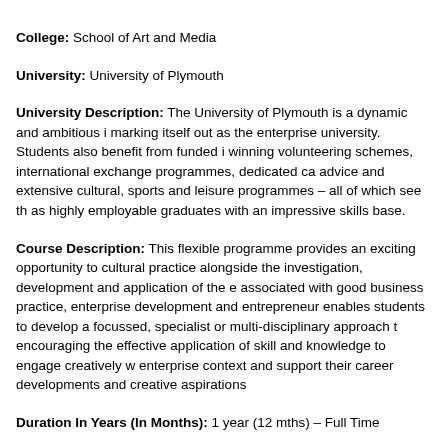College: School of Art and Media
University: University of Plymouth
University Description: The University of Plymouth is a dynamic and ambitious institution, marking itself out as the enterprise university. Students also benefit from funded industry award-winning volunteering schemes, international exchange programmes, dedicated careers and employability advice and extensive cultural, sports and leisure programmes – all of which see them leave Plymouth as highly employable graduates with an impressive skills base.
Course Description: This flexible programme provides an exciting opportunity to engage with cultural practice alongside the investigation, development and application of the essential skills associated with good business practice, enterprise development and entrepreneurship. The course enables students to develop a focussed, specialist or multi-disciplinary approach to their practice, encouraging the effective application of skill and knowledge to engage creatively within an enterprise context and support their career developments and creative aspirations.
Duration In Years (In Months): 1 year (12 mths) – Full Time
Fee Structure: £10,400 (approx. Rs. 760755)
Eligibility Criteria: Appropriate professional experience in a creative or cultural...